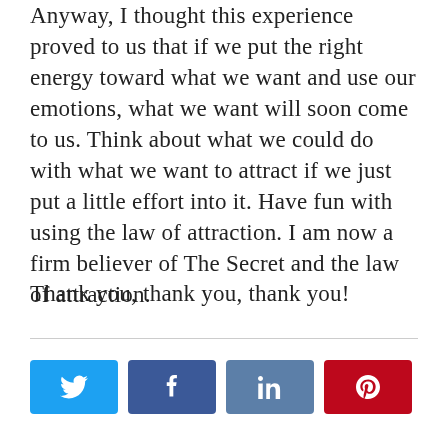Anyway, I thought this experience proved to us that if we put the right energy toward what we want and use our emotions, what we want will soon come to us. Think about what we could do with what we want to attract if we just put a little effort into it. Have fun with using the law of attraction. I am now a firm believer of The Secret and the law of attraction.
Thank you, thank you, thank you!
[Figure (other): Social share buttons: Twitter (blue), Facebook (dark blue), LinkedIn (steel blue), Pinterest (red)]